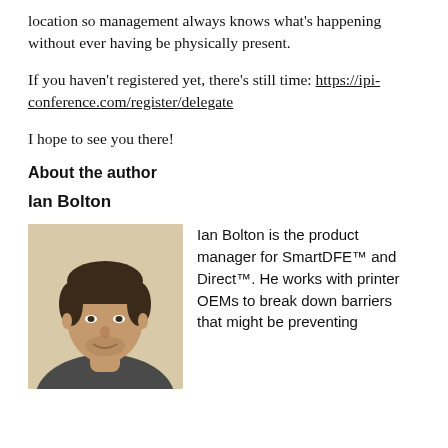location so management always knows what's happening without ever having be physically present.
If you haven't registered yet, there's still time: https://ipi-conference.com/register/delegate
I hope to see you there!
About the author
Ian Bolton
[Figure (photo): Headshot photo of Ian Bolton, a man with short dark hair and light beard, against a beige background.]
Ian Bolton is the product manager for SmartDFE™ and Direct™. He works with printer OEMs to break down barriers that might be preventing